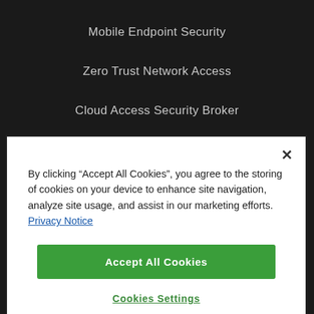Mobile Endpoint Security
Zero Trust Network Access
Cloud Access Security Broker
Threat Intelligence
By clicking “Accept All Cookies”, you agree to the storing of cookies on your device to enhance site navigation, analyze site usage, and assist in our marketing efforts. Privacy Notice
Accept All Cookies
Cookies Settings